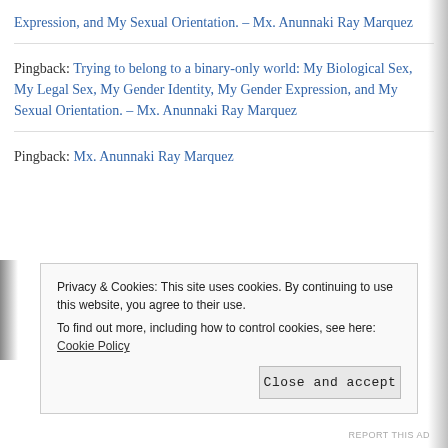Expression, and My Sexual Orientation. – Mx. Anunnaki Ray Marquez
Pingback: Trying to belong to a binary-only world: My Biological Sex, My Legal Sex, My Gender Identity, My Gender Expression, and My Sexual Orientation. – Mx. Anunnaki Ray Marquez
Pingback: Mx. Anunnaki Ray Marquez
Privacy & Cookies: This site uses cookies. By continuing to use this website, you agree to their use.
To find out more, including how to control cookies, see here: Cookie Policy
REPORT THIS AD